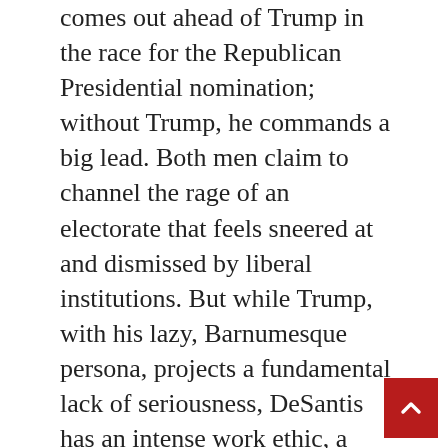comes out ahead of Trump in the race for the Republican Presidential nomination; without Trump, he commands a big lead. Both men claim to channel the rage of an electorate that feels sneered at and dismissed by liberal institutions. But while Trump, with his lazy, Barnumesque persona, projects a fundamental lack of seriousness, DeSantis has an intense work ethic, a formidable intelligence, and a granular understanding of policy. Articulate and fast on his feet, he has been described as Trump with a brain.
In February, DeSantis appeared at the Conservative Political Action Conference, held at the Rosen Shingle Creek Hotel, a sprawling resort near Orlando. The convention halls were filled with Party's new vanguard, which was, on the whole poorer and angrier than the bankers and golfers